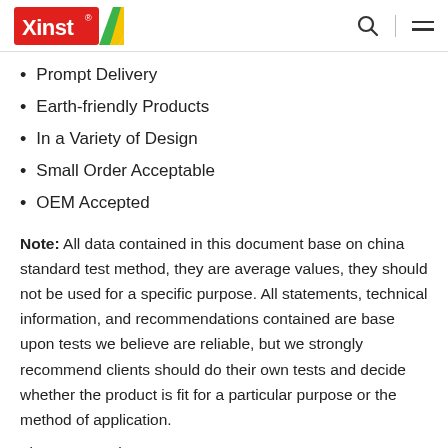Xinst logo, search icon, menu icon
Prompt Delivery
Earth-friendly Products
In a Variety of Design
Small Order Acceptable
OEM Accepted
Note: All data contained in this document base on china standard test method, they are average values, they should not be used for a specific purpose. All statements, technical information, and recommendations contained are base upon tests we believe are reliable, but we strongly recommend clients should do their own tests and decide whether the product is fit for a particular purpose or the method of application.
The company has...